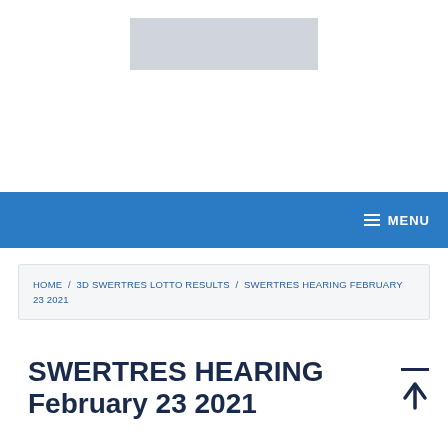[Figure (other): Gray rectangular advertisement placeholder banner]
MENU
HOME / 3D SWERTRES LOTTO RESULTS / SWERTRES HEARING FEBRUARY 23 2021
SWERTRES HEARING February 23 2021